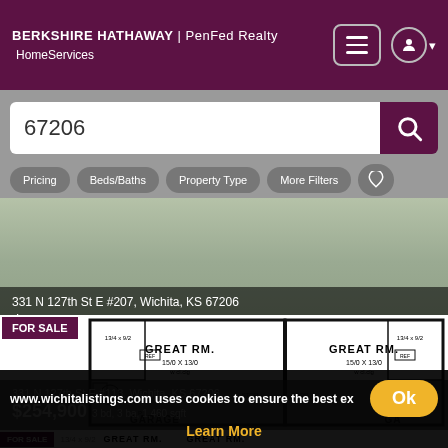BERKSHIRE HATHAWAY | PenFed Realty HomeServices
67206
Pricing
Beds/Baths
Property Type
More Filters
[Figure (screenshot): Real estate listing card for 331 N 127th St E #207, Wichita, KS 67206 showing property photo background with FOR SALE label and floor plan image]
331 N 127th St E #207, Wichita, KS 67206
$284,900 4 bd, 3 ba, 2015 sqft
Keller Williams Signature Partners
331 N 127th St E #113, Wichita, KS 67206
$254,900 3 bd, 3 ba, 1,460 sqft
www.wichitalistings.com uses cookies to ensure the best ex
Ok
Learn More